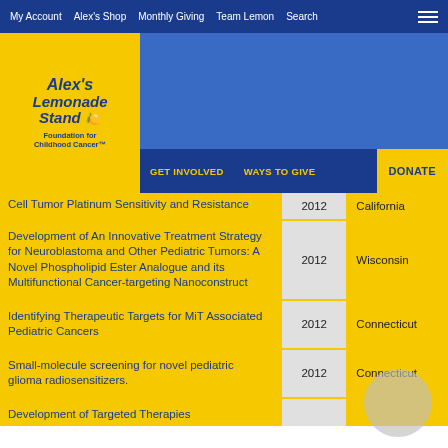My Account | Alex's Shop | Monthly Giving | Team Lemon | Search
[Figure (logo): Alex's Lemonade Stand Foundation for Childhood Cancer logo]
GET INVOLVED | WAYS TO GIVE | DONATE
| Title | Year | State |
| --- | --- | --- |
| Cell Tumor Platinum Sensitivity and Resistance | 2012 | California |
| Development of An Innovative Treatment Strategy for Neuroblastoma and Other Pediatric Tumors: A Novel Phospholipid Ester Analogue and its Multifunctional Cancer-targeting Nanoconstruct | 2012 | Wisconsin |
| Identifying Therapeutic Targets for MiT Associated Pediatric Cancers | 2012 | Connecticut |
| Small-molecule screening for novel pediatric glioma radiosensitizers. | 2012 | Connecticut |
| Development of Targeted Therapies |  |  |